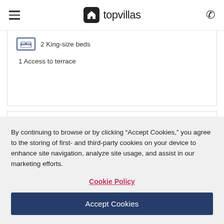topvillas
2 King-size beds
1 Access to terrace
Description
By continuing to browse or by clicking “Accept Cookies,” you agree to the storing of first- and third-party cookies on your device to enhance site navigation, analyze site usage, and assist in our marketing efforts.
Cookie Policy
Accept Cookies